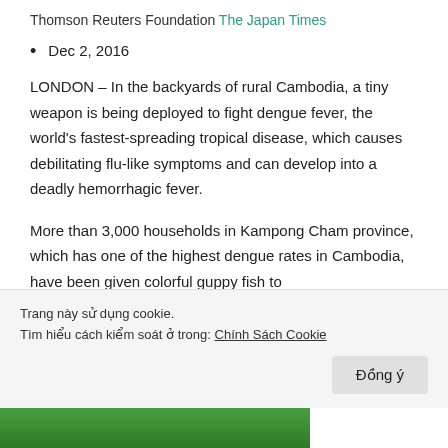Thomson Reuters Foundation The Japan Times
Dec 2, 2016
LONDON – In the backyards of rural Cambodia, a tiny weapon is being deployed to fight dengue fever, the world's fastest-spreading tropical disease, which causes debilitating flu-like symptoms and can develop into a deadly hemorrhagic fever.
More than 3,000 households in Kampong Cham province, which has one of the highest dengue rates in Cambodia, have been given colorful guppy fish to
Trang này sử dụng cookie.
Tìm hiểu cách kiểm soát ở trong: Chính Sách Cookie
[Figure (photo): Green plant/leaf image strip at the bottom of the page]